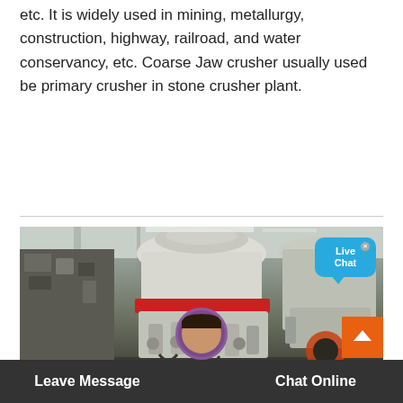etc. It is widely used in mining, metallurgy, construction, highway, railroad, and water conservancy, etc. Coarse Jaw crusher usually used be primary crusher in stone crusher plant.
[Figure (photo): Industrial cone crusher machine in a factory/warehouse setting. The crusher is white/cream colored with a distinctive red band around its middle section, cylindrical body with multiple attachments and legs. A smaller machine is visible on the right side, and dark heavy machinery on the left. A 'Live Chat' bubble overlay appears in the top-right corner. An orange scroll-to-top button appears at bottom right. A customer service agent avatar appears at the bottom center.]